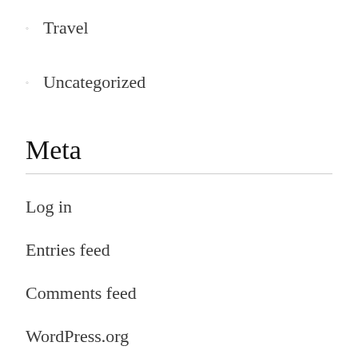Travel
Uncategorized
Meta
Log in
Entries feed
Comments feed
WordPress.org
Sponsor